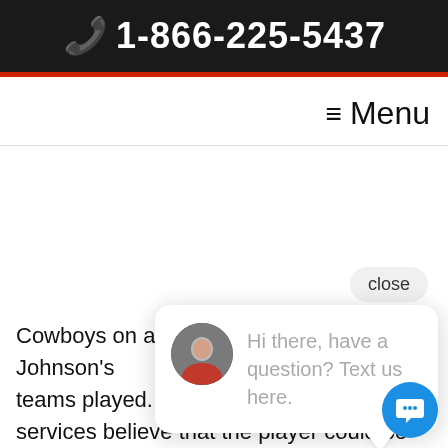📞 1-866-225-5437
≡ Menu
Cowboys on a bad g Johnson's teams played. Many fans and live betting services believe that the player could be right.
close
Hi there, have a question? Text us here.